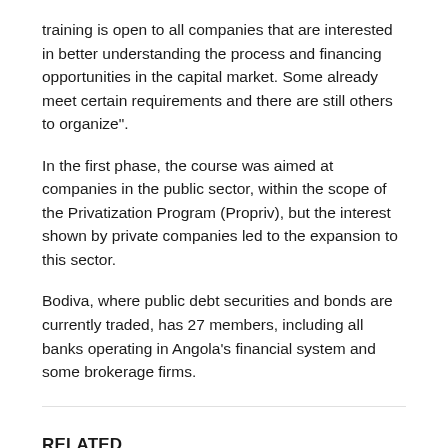training is open to all companies that are interested in better understanding the process and financing opportunities in the capital market. Some already meet certain requirements and there are still others to organize".
In the first phase, the course was aimed at companies in the public sector, within the scope of the Privatization Program (Propriv), but the interest shown by private companies led to the expansion to this sector.
Bodiva, where public debt securities and bonds are currently traded, has 27 members, including all banks operating in Angola's financial system and some brokerage firms.
RELATED
ECONOMY